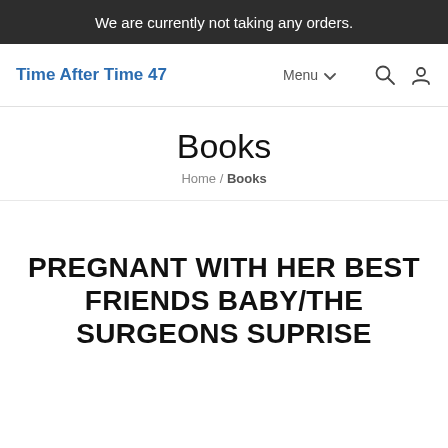We are currently not taking any orders.
Time After Time 47  Menu  [search icon] [account icon]
Books
Home / Books
PREGNANT WITH HER BEST FRIENDS BABY/THE SURGEONS SUPRISE